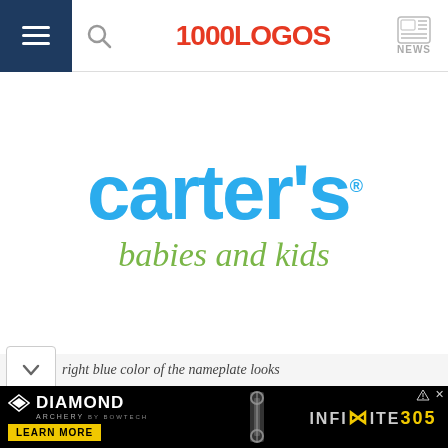1000LOGOS NEWS
[Figure (logo): Carter's babies and kids logo. 'carter's' in large bold blue rounded letters with registered trademark symbol, 'babies and kids' in green italic text below.]
...right blue color of the nameplate looks
[Figure (photo): Diamond Archery by Bowtech advertisement banner. Shows Diamond Archery logo, a compound bow image, 'LEARN MORE' yellow button, and 'INFINITE 305' text on black background.]